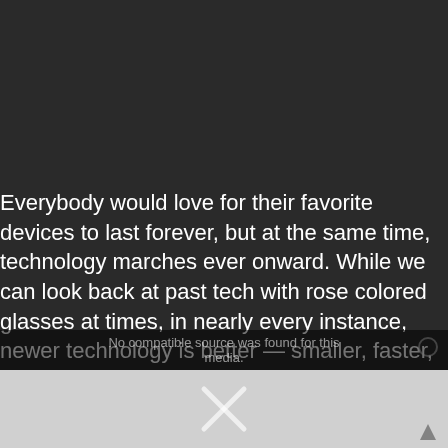Everybody would love for their favorite devices to last forever, but at the same time, technology marches ever onward. While we can look back at past tech with rose colored glasses at times, in nearly every instance, newer technology is better — smaller, faster, more energy efficient, the list goes on and on. You're certainly welcome to resist progress, but…
No compatible source was found for this media.
[Figure (other): Broken media player placeholder with X mark, shown on a light gray background]